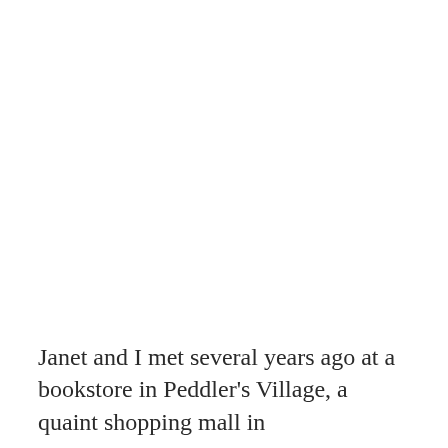Janet and I met several years ago at a bookstore in Peddler's Village, a quaint shopping mall in